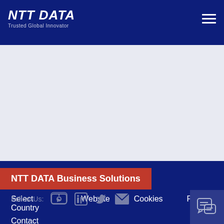NTT DATA - Trusted Global Innovator
[Figure (logo): NTT DATA logo with tagline 'Trusted Global Innovator' in white on dark blue header, with hamburger menu icon on the right]
NTT DATA Business Solutions
Select Country   Website   Cookies   Privacy
Contact
Follow Us:
[Figure (infographic): Social media icons: YouTube, LinkedIn, Twitter, Email]
[Figure (other): Chat bubble icon in bottom right corner]